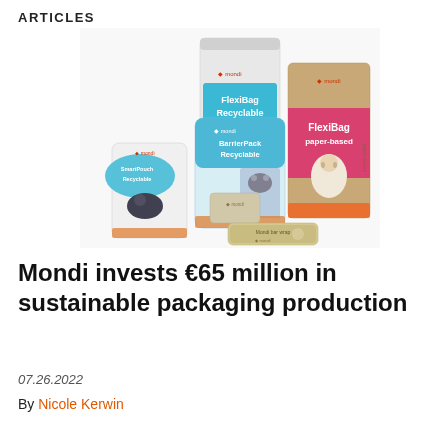ARTICLES
[Figure (photo): Group of Mondi sustainable packaging products including FlexiBag Recyclable (white stand-up pouch), BarrierPack Recyclable (blue and white pouch with cat image), SmartPouch Recyclable (small white pouch with cat image), FlexiBag paper-based (large brown kraft bag with dog image), and a bar wrapper product, all branded with Mondi logo]
Mondi invests €65 million in sustainable packaging production
07.26.2022
By Nicole Kerwin